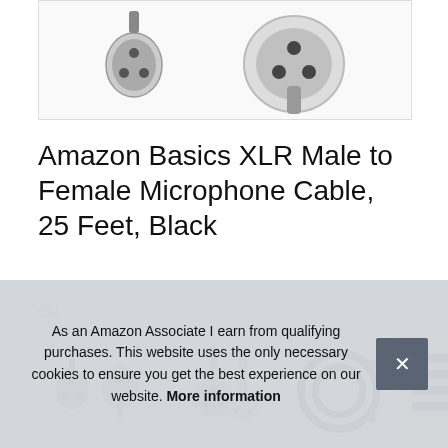[Figure (photo): XLR cable connector close-up product photo — male and female connectors visible on white background]
Amazon Basics XLR Male to Female Microphone Cable, 25 Feet, Black
#ad
[Figure (photo): Four thumbnail product images of the XLR cable — connectors close-up, two connectors side by side, coiled cable, cable on wooden surface]
Amazon Basics XLR Male to Female cable housing cable: black. Plug & play design; easily use with XLR-
As an Amazon Associate I earn from qualifying purchases. This website uses the only necessary cookies to ensure you get the best experience on our website. More information